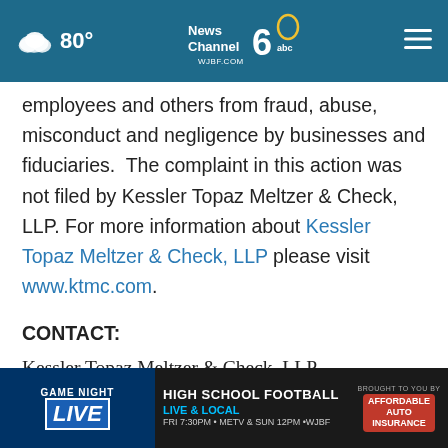80° News Channel 6 abc WJBF.COM
employees and others from fraud, abuse, misconduct and negligence by businesses and fiduciaries.  The complaint in this action was not filed by Kessler Topaz Meltzer & Check, LLP. For more information about Kessler Topaz Meltzer & Check, LLP please visit www.ktmc.com.
CONTACT:
Kessler Topaz Meltzer & Check, LLP
James Maro, Jr., Esq.
280 K
Radnor
[Figure (screenshot): Game Night Live High School Football Live & Local advertisement banner at bottom of page. FRI 7:30PM • METV & SUN 12PM • WJBF. Brought to you by Affordable Auto Insurance.]